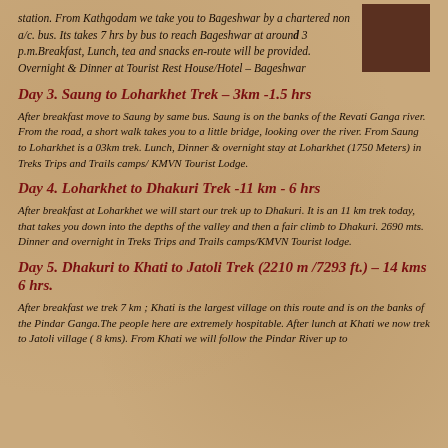station. From Kathgodam we take you to Bageshwar by a chartered non a/c. bus. Its takes 7 hrs by bus to reach Bageshwar at around 3 p.m.Breakfast, Lunch, tea and snacks en-route will be provided. Overnight & Dinner at Tourist Rest House/Hotel – Bageshwar
Day 3. Saung to Loharkhet Trek – 3km -1.5 hrs
After breakfast move to Saung by same bus. Saung is on the banks of the Revati Ganga river. From the road, a short walk takes you to a little bridge, looking over the river. From Saung to Loharkhet is a 03km trek. Lunch, Dinner & overnight stay at Loharkhet (1750 Meters) in Treks Trips and Trails camps/ KMVN Tourist Lodge.
Day 4. Loharkhet to Dhakuri Trek -11 km - 6 hrs
After breakfast at Loharkhet we will start our trek up to Dhakuri. It is an 11 km trek today, that takes you down into the depths of the valley and then a fair climb to Dhakuri. 2690 mts. Dinner and overnight in Treks Trips and Trails camps/KMVN Tourist lodge.
Day 5. Dhakuri to Khati to Jatoli Trek (2210 m /7293 ft.) – 14 kms 6 hrs.
After breakfast we trek 7 km ; Khati is the largest village on this route and is on the banks of the Pindar Ganga.The people here are extremely hospitable. After lunch at Khati we now trek to Jatoli village ( 8 kms). From Khati we will follow the Pindar River up to